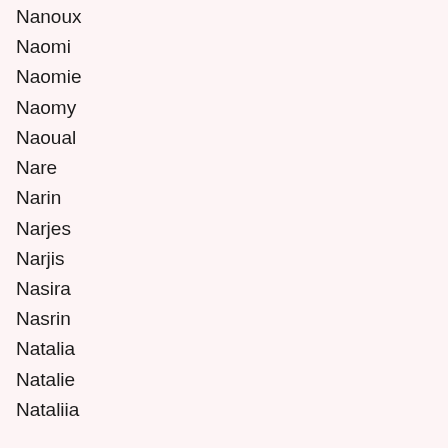Nanoux
Naomi
Naomie
Naomy
Naoual
Nare
Narin
Narjes
Narjis
Nasira
Nasrin
Natalia
Natalie
Nataliia